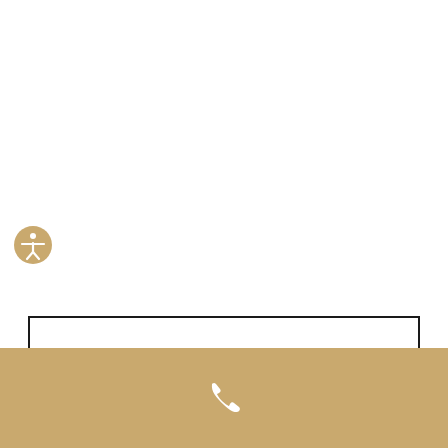[Figure (illustration): Gold circular accessibility icon with a human figure (person with arms raised) in white, positioned on the left side of the page]
SCHEDULE A MEETING →
[Figure (illustration): Gold/tan footer bar at the bottom of the page containing a white telephone/phone handset icon in the center]